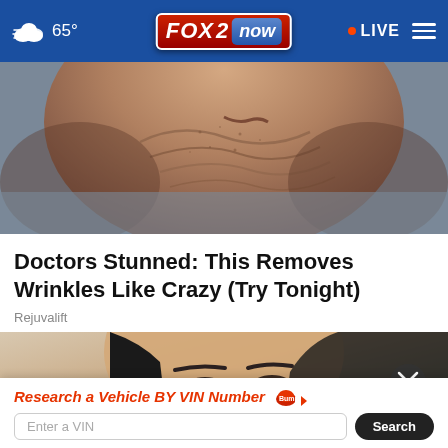65° FOX 2 now · LIVE
[Figure (photo): Close-up of wrinkled, aged skin on the back of an elderly person's head/neck]
Doctors Stunned: This Removes Wrinkles Like Crazy (Try Tonight)
Rejuvalift
[Figure (photo): Close-up of a young dark-haired woman's face, partially obscured by an advertisement overlay. An X close button is visible.]
Research a Vehicle BY VIN Number  Bump  Enter a VIN  Search